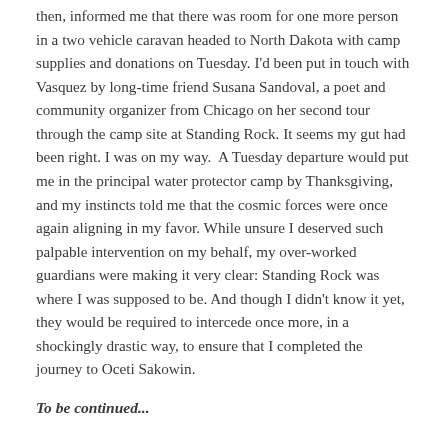then, informed me that there was room for one more person in a two vehicle caravan headed to North Dakota with camp supplies and donations on Tuesday. I'd been put in touch with Vasquez by long-time friend Susana Sandoval, a poet and community organizer from Chicago on her second tour through the camp site at Standing Rock. It seems my gut had been right. I was on my way.  A Tuesday departure would put me in the principal water protector camp by Thanksgiving, and my instincts told me that the cosmic forces were once again aligning in my favor. While unsure I deserved such palpable intervention on my behalf, my over-worked guardians were making it very clear: Standing Rock was where I was supposed to be. And though I didn't know it yet, they would be required to intercede once more, in a shockingly drastic way, to ensure that I completed the journey to Oceti Sakowin.
To be continued...